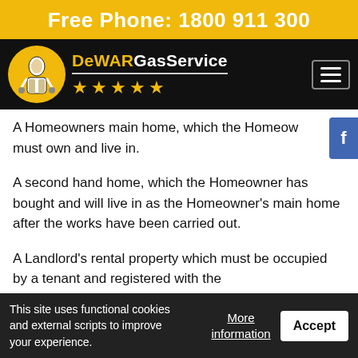Free Phone: 1800 911 300
[Figure (logo): DeWAR Gas Service logo with 5 gold stars on black navigation bar]
A Homeowners main home, which the Homeowner must own and live in.
A second hand home, which the Homeowner has bought and will live in as the Homeowner's main home after the works have been carried out.
A Landlord's rental property which must be occupied by a tenant and registered with the
This site uses functional cookies and external scripts to improve your experience.